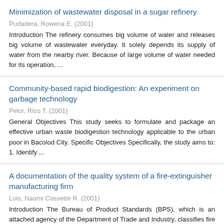Minimization of wastewater disposal in a sugar refinery
Pudadera, Rowena E. (2001)
Introduction The refinery consumes big volume of water and releases big volume of wastewater everyday. It solely depends its supply of water from the nearby river. Because of large volume of water needed for its operation, ...
Community-based rapid biodigestion: An experiment on garbage technology
Pelor, Rico T. (2001)
General Objectives This study seeks to formulate and package an effective urban waste biodigestion technology applicable to the urban poor in Bacolod City. Specific Objectives Specifically, the study aims to: 1. Identify ...
A documentation of the quality system of a fire-extinguisher manufacturing firm
Luis, Naomi Cossette R. (2001)
Introduction The Bureau of Product Standards (BPS), which is an attached agency of the Department of Trade and Industry, classifies fire extinguishers as products covered by mandatory...